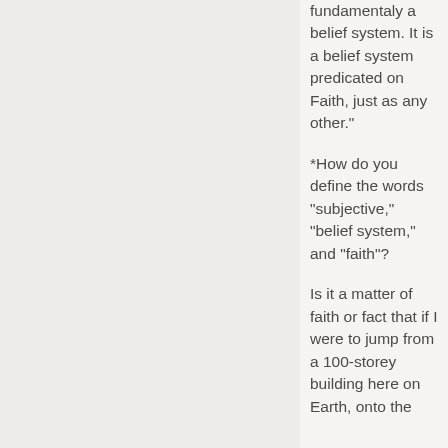fundamentaly a belief system. It is a belief system predicated on Faith, just as any other."
*How do you define the words "subjective," "belief system," and "faith"?
Is it a matter of faith or fact that if I were to jump from a 100-storey building here on Earth, onto the